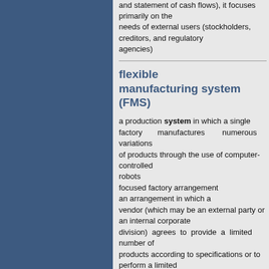and statement of cash flows), it focuses primarily on the needs of external users (stockholders, creditors, and regulatory agencies)
flexible manufacturing system (FMS)
a production system in which a single factory manufactures numerous variations of products through the use of computer-controlled robots focused factory arrangement an arrangement in which a vendor (which may be an external party or an internal corporate division) agrees to provide a limited number of products according to specifications or to perform a limited number of unique services to a company that is typically operating on a just-in-time system